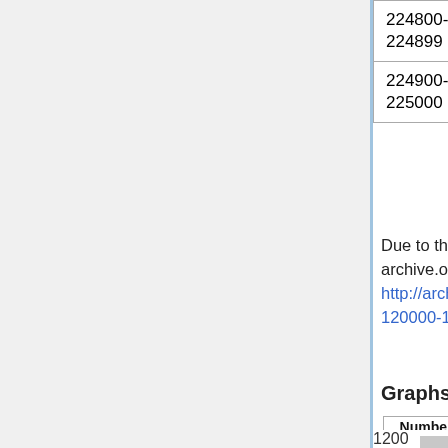| Range | Status | Count | Size |
| --- | --- | --- | --- |
| 224800-224899 | Done, locally | 57 | 5.0G |
| 224900-225000 | Done, locally | 51 | 351M |
Due to the wiki being not updated well Schbirid got 187000-189999 in 100 ID chunks uploaded to archive.org. TODO request deletion for those. Only if we are fully done with everything Also delete http://archive.org/details/FileplanetFiles_120000-124999 (deprecated, Schbirid redid the range in smaller chunks)
Graphs
[Figure (other): Partial bar chart showing 'Numbe...' title with 'Be aw...' subtitle and y-axis value of 1200, with a gray bar area visible at the bottom]